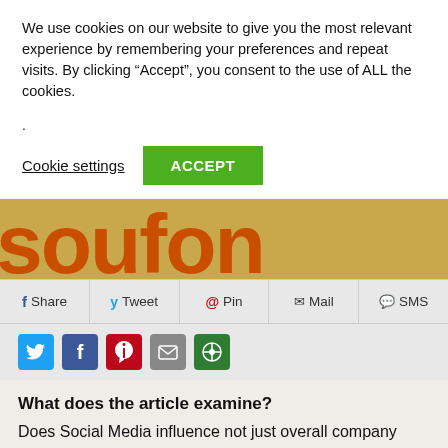We use cookies on our website to give you the most relevant experience by remembering your preferences and repeat visits. By clicking “Accept”, you consent to the use of ALL the cookies.
.
Cookie settings
ACCEPT
[Figure (other): Partial hero banner with large orange bold text on a tan/golden background, showing partial letters 'soufon' or similar.]
f Share   y Tweet   @ Pin   ✉ Mail   💬 SMS
[Figure (infographic): Row of social media icon buttons: Twitter (blue bird), Facebook (blue f), Pinterest (red P), Email (envelope), More (green circle)]
What does the article examine?
Does Social Media influence not just overall company strategies? But does it also carry through into improved product strategies? This is the central